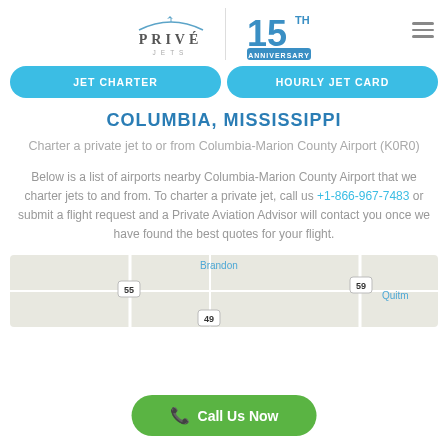PRIVÉ JETS — 15th Anniversary
COLUMBIA, MISSISSIPPI
Charter a private jet to or from Columbia-Marion County Airport (K0R0)
Below is a list of airports nearby Columbia-Marion County Airport that we charter jets to and from. To charter a private jet, call us +1-866-967-7483 or submit a flight request and a Private Aviation Advisor will contact you once we have found the best quotes for your flight.
[Figure (map): Map showing area around Columbia, Mississippi with Brandon and Quitman visible]
Call Us Now